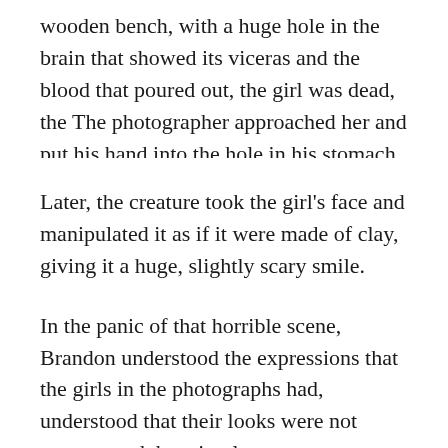wooden bench, with a huge hole in the brain that showed its viceras and the blood that poured out, the girl was dead, the The photographer approached her and put his hand into the hole in his stomach, leasing him a few tries and taking them towards his vocals full of rotten teeth.
Later, the creature took the girl's face and manipulated it as if it were made of clay, giving it a huge, slightly scary smile.
In the panic of that horrible scene, Brandon understood the expressions that the girls in the photographs had, understood that their looks were not scary or sad, but simply empty expressions.
The fear took over Brandon so much that the only thing he could do was stay frozen, seeing the terrible scene, after the photographer took the